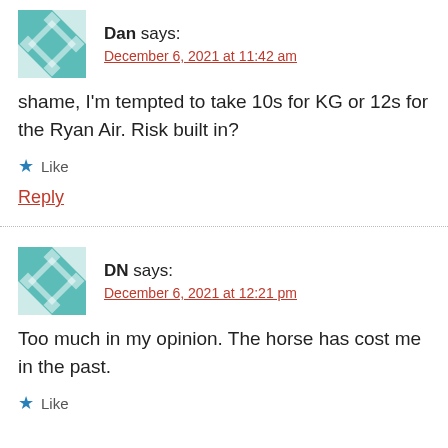Dan says:
December 6, 2021 at 11:42 am
shame, I'm tempted to take 10s for KG or 12s for the Ryan Air. Risk built in?
Like
Reply
DN says:
December 6, 2021 at 12:21 pm
Too much in my opinion. The horse has cost me in the past.
Like